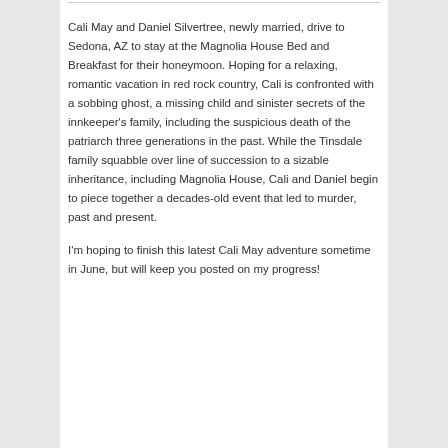Cali May and Daniel Silvertree, newly married, drive to Sedona, AZ to stay at the Magnolia House Bed and Breakfast for their honeymoon. Hoping for a relaxing, romantic vacation in red rock country, Cali is confronted with a sobbing ghost, a missing child and sinister secrets of the innkeeper's family, including the suspicious death of the patriarch three generations in the past. While the Tinsdale family squabble over line of succession to a sizable inheritance, including Magnolia House, Cali and Daniel begin to piece together a decades-old event that led to murder, past and present.
I'm hoping to finish this latest Cali May adventure sometime in June, but will keep you posted on my progress!